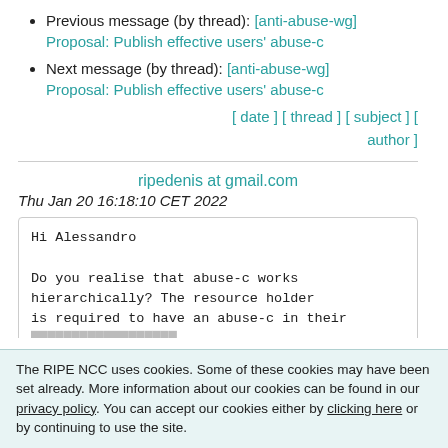Previous message (by thread): [anti-abuse-wg] Proposal: Publish effective users' abuse-c
Next message (by thread): [anti-abuse-wg] Proposal: Publish effective users' abuse-c
[ date ] [ thread ] [ subject ] [ author ]
ripedenis at gmail.com
Thu Jan 20 16:18:10 CET 2022
Hi Alessandro

Do you realise that abuse-c works
hierarchically? The resource holder
is required to have an abuse-c in their
The RIPE NCC uses cookies. Some of these cookies may have been set already. More information about our cookies can be found in our privacy policy. You can accept our cookies either by clicking here or by continuing to use the site.